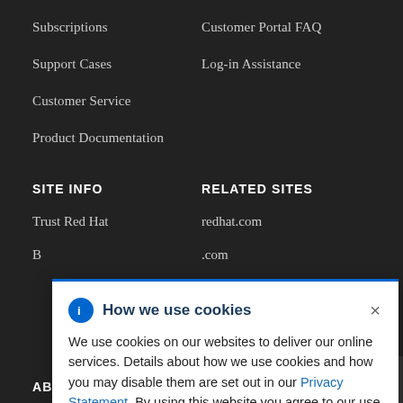Subscriptions
Customer Portal FAQ
Support Cases
Log-in Assistance
Customer Service
Product Documentation
SITE INFO
RELATED SITES
Trust Red Hat
redhat.com
How we use cookies
We use cookies on our websites to deliver our online services. Details about how we use cookies and how you may disable them are set out in our Privacy Statement. By using this website you agree to our use of cookies.
ABOUT